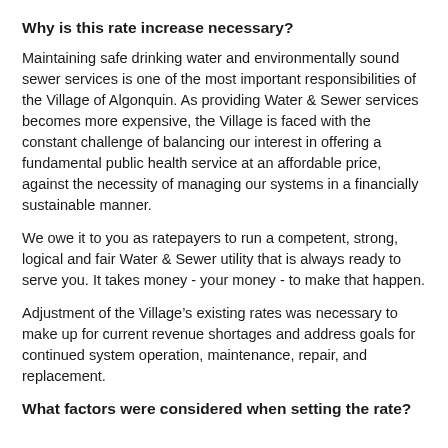Why is this rate increase necessary?
Maintaining safe drinking water and environmentally sound sewer services is one of the most important responsibilities of the Village of Algonquin. As providing Water & Sewer services becomes more expensive, the Village is faced with the constant challenge of balancing our interest in offering a fundamental public health service at an affordable price, against the necessity of managing our systems in a financially sustainable manner.
We owe it to you as ratepayers to run a competent, strong, logical and fair Water & Sewer utility that is always ready to serve you. It takes money - your money - to make that happen.
Adjustment of the Village’s existing rates was necessary to make up for current revenue shortages and address goals for continued system operation, maintenance, repair, and replacement.
What factors were considered when setting the rate?